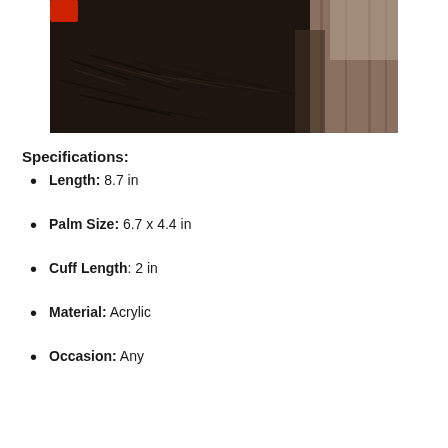[Figure (photo): Close-up photo of dark/black fur (possibly a cat or similar animal) against a wooden background, partial view showing fur texture with a red element visible at top-left corner.]
Specifications:
Length: 8.7 in
Palm Size: 6.7 x 4.4 in
Cuff Length: 2 in
Material: Acrylic
Occasion: Any